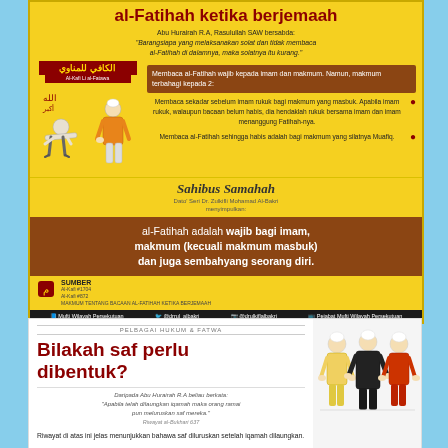al-Fatihah ketika berjemaah
Abu Hurairah R.A, Rasulullah SAW bersabda:
"Barangsiapa yang melaksanakan solat dan tidak membaca al-Fatihah di dalamnya, maka solatnya itu kurang."
[Figure (infographic): Islamic infographic with Al-Kafi logo badge, illustration of person in ruku and person standing, text about rules for reading al-Fatihah]
Membaca al-Fatihah wajib kepada imam dan makmum. Namun, makmum terbahagi kepada 2:
Membaca sekadar sebelum imam rukuk bagi makmum yang masbuk. Apabila imam rukuk, walaupun bacaan belum habis, dia hendaklah rukuk bersama imam dan imam menanggung Fatihah-nya.
Membaca al-Fatihah sehingga habis adalah bagi makmum yang silatnya Muafiq.
Sahibus Samahah
Dato' Seri Dr. Zulkifli Mohamad Al-Bakri menyimpulkan:
al-Fatihah adalah wajib bagi imam, makmum (kecuali makmum masbuk) dan juga sembahyang seorang diri.
SUMBER
Al-Kafi #1704
Al-Kafi #872
MAKMUM TENTANG BACAAN AL-FATIHAH KETIKA BERJEMAAH
Mufti Wilayah Persekutuan | @drrul_albakri | @drulkiflbakri | Pejabat Mufti Wilayah Persekutuan
PELBAGAI HUKUM & FATWA
Bilakah saf perlu dibentuk?
Daripada Abu Hurairah R.A beliau berkata:
"Apabila telah dilaungkan iqamah maka orang ramai pun meluruskan saf mereka."
Riwayat al-Bukhari 637
Riwayat di atas ini jelas menunjukkan bahawa saf diluruskan setelah iqamah dilaungkan.
[Figure (illustration): Illustration of three people in Muslim prayer attire standing in a row - an imam in black, and two followers]